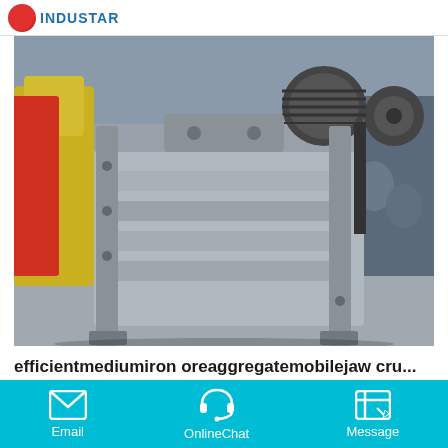INDUSTAR
[Figure (photo): Industrial jaw crusher machine photographed in a factory yard, showing a heavy grey steel frame with horizontal ribs and a large belt pulley on the right side.]
efficientmediumiron oreaggregatemobilejaw cru...
Jaw Crusher|Southeast AsiaTangible BenefitsEnvironmental.Tangible BenefitsGraniteAggregateJawCrusherIn.Tangible benefitsgraniteaggregatejawcrusherin thailand southeast asia...
Email   OnlineChat   Message